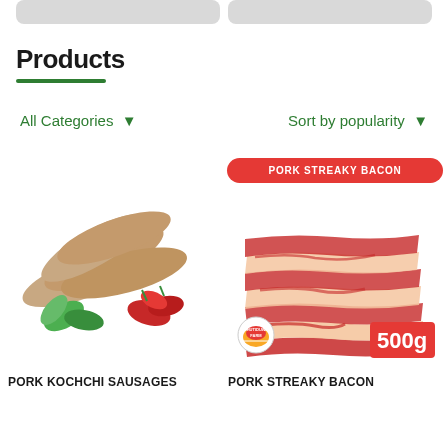[Figure (other): Two gray rounded rectangle cards at the top of the page]
Products
All Categories ▼
Sort by popularity ▼
[Figure (photo): Pork kochchi sausages with green basil leaves and red tomatoes]
[Figure (photo): Pork streaky bacon slices stacked, with Chutiduwa Farm logo and 500g badge, labelled PORK STREAKY BACON in red banner]
PORK KOCHCHI SAUSAGES
PORK STREAKY BACON